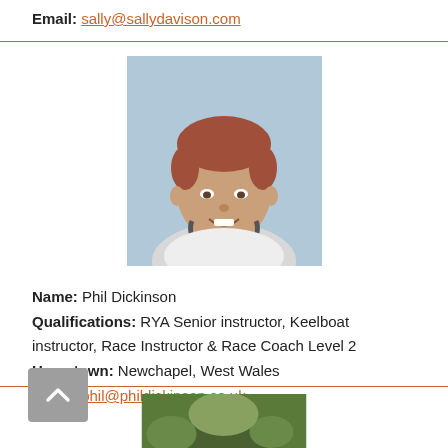Email: sally@sallydavison.com
[Figure (photo): Profile photo of Phil Dickinson, a man with short reddish hair smiling, wearing a white t-shirt and backpack, blue sky background.]
Name: Phil Dickinson
Qualifications: RYA Senior instructor, Keelboat instructor, Race Instructor & Race Coach Level 2
Hometown: Newchapel, West Wales
Email: phil@phildickinson.co.uk
[Figure (photo): Partial photo visible at bottom of page, appears to show outdoor/nature scene, cropped.]